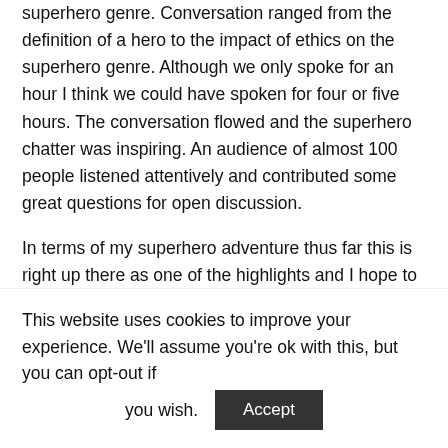superhero genre. Conversation ranged from the definition of a hero to the impact of ethics on the superhero genre. Although we only spoke for an hour I think we could have spoken for four or five hours. The conversation flowed and the superhero chatter was inspiring. An audience of almost 100 people listened attentively and contributed some great questions for open discussion.
In terms of my superhero adventure thus far this is right up there as one of the highlights and I hope to get the chance to speak once more in the future at the Galway International Arts Festival. For those who have yet to attend the festival please consider adding it to your future agendas. The line up this year was magnificent with music from all genres, art performances and talks. Musicians such
This website uses cookies to improve your experience. We'll assume you're ok with this, but you can opt-out if you wish. Accept